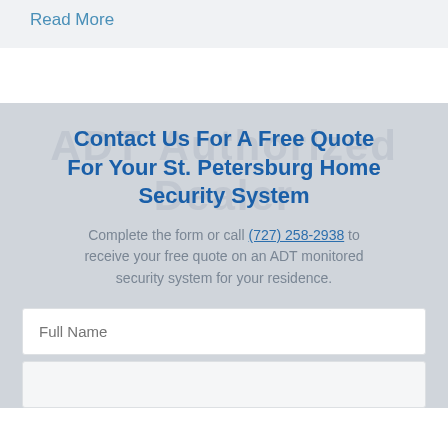Read More
Contact Us For A Free Quote For Your St. Petersburg Home Security System
Complete the form or call (727) 258-2938 to receive your free quote on an ADT monitored security system for your residence.
Full Name